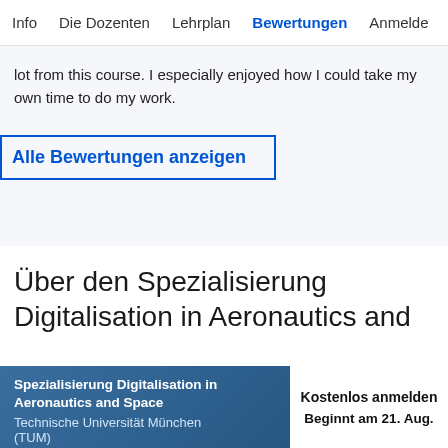Info   Die Dozenten   Lehrplan   Bewertungen   Anmelde
lot from this course. I especially enjoyed how I could take my own time to do my work.
Alle Bewertungen anzeigen
Über den Spezialisierung Digitalisation in Aeronautics and
Spezialisierung Digitalisation in Aeronautics and Space
Technische Universität München (TUM)
Kostenlos anmelden
Beginnt am 21. Aug.